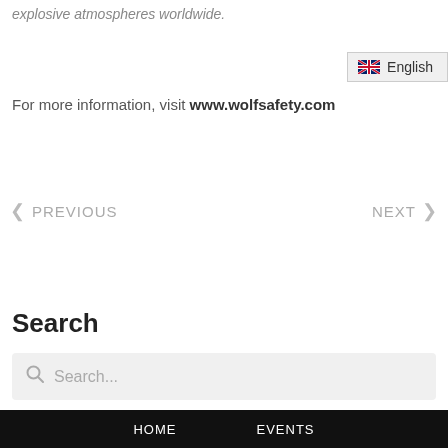explosive atmospheres worldwide.
[Figure (other): Language selector button showing UK flag and 'English' label]
For more information, visit www.wolfsafety.com
< PREVIOUS    NEXT >
Search
Search...
HOME   EVENTS